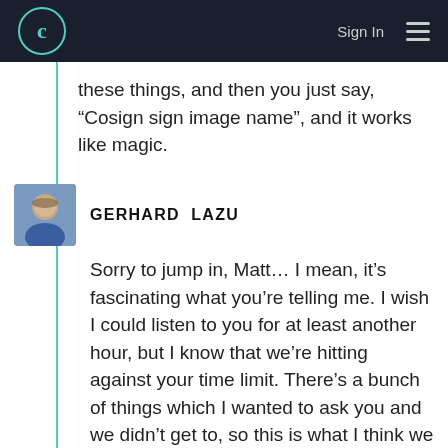C  Sign In  ≡
these things, and then you just say, “Cosign sign image name”, and it works like magic.
GERHARD LAZU
Sorry to jump in, Matt… I mean, it’s fascinating what you’re telling me. I wish I could listen to you for at least another hour, but I know that we’re hitting against your time limit. There’s a bunch of things which I wanted to ask you and we didn’t get to, so this is what I think we should do, and it’s a proposal. I think that we need to have Kim on to talk about Nforce, because we haven’t even crack-opened that subject.
And when I talked to Puerco last time in the